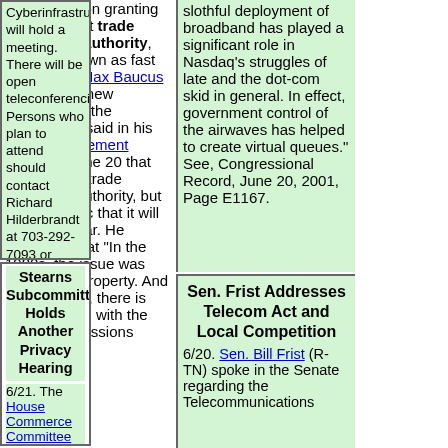of hearings on granting the President trade promotion authority, formerly known as fast track. Sen. Max Baucus (D-MT), the new Chairman of the Committee, said in his opening statement [PDF] on June 20 that he supports trade promotion authority, but is pessimistic that it will pass this year. He continued that "In the 1980s, the issue was intellectual property. And on this issue, there is great parallel with the current discussions
slothful deployment of broadband has played a significant role in Nasdaq's struggles of late and the dot-com skid in general. In effect, government control of the airwaves has helped to create virtual queues." See, Congressional Record, June 20, 2001, Page E1167.
Sen. Frist Addresses Telecom Act and Local Competition
6/20. Sen. Bill Frist (R-TN) spoke in the Senate regarding the Telecommunications
Cyberinfrastructure will hold a meeting. There will be open teleconferencing. Persons who plan to attend should contact Richard Hilderbrandt at 703-292-7093 or rhilderb@nsf.gov. See, notice in Federal Register. Location: Room 320, National Science Foundation, 4201 Wilson Blvd., Arlington, VA.
Stearns Subcommittee Holds Another Privacy Hearing
6/21. The House Commerce Committee